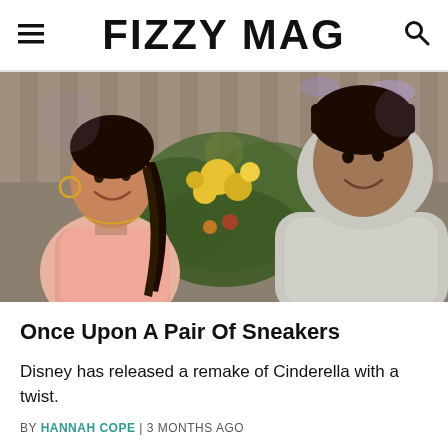FIZZY MAG
[Figure (photo): Two young people smiling at each other in a garden setting with yellow flowers and greenery in the background. A young woman with braids wearing a pink top and hoop earrings faces a young man in a grey hoodie.]
Once Upon A Pair Of Sneakers
Disney has released a remake of Cinderella with a twist.
BY HANNAH COPE | 3 MONTHS AGO